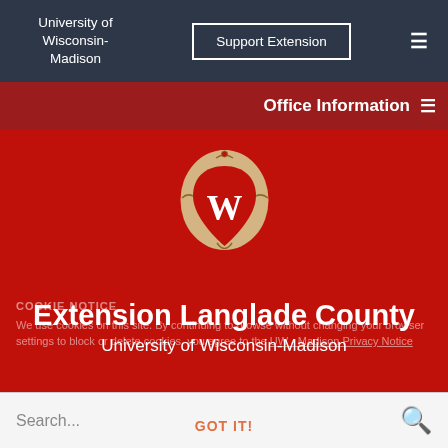University of Wisconsin-Madison
Support Extension
Office Information
[Figure (logo): University of Wisconsin-Madison crest/shield logo with 'W' on red background, ornate beige border]
Extension Langlade County
University of Wisconsin-Madison
COOKIE NOTICE
We use cookies on this site. By continuing to browse without changing your browser settings to block or delete cookies, you agree to the UW - Madison Privacy Notice
Search...
GOT IT!